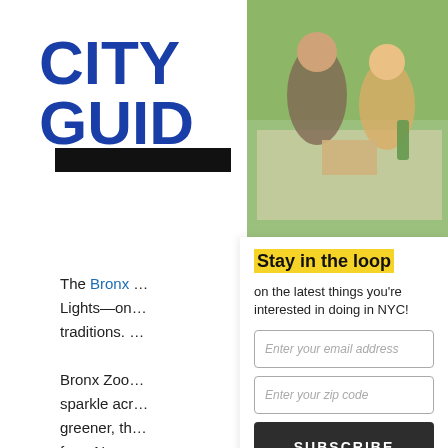[Figure (logo): City Guide logo in bold blue text]
[Figure (photo): Two women sitting on a picnic blanket outdoors with food and drinks]
The Bronx ... Lights—on ... traditions. ... Bronx Zoo ... sparkle acr... greener, th... from Nove... include The...
Stay in the loop
on the latest things you're interested in doing in NYC!
Enter your email address
Enter your zip code
SUBSCRIBE
[Figure (logo): Wayfair logo with star icon]
Top Appliance Low Prices